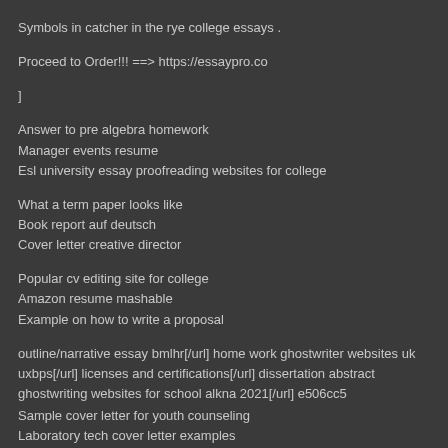Symbols in catcher in the rye college essays .
Proceed to Order!!! ==> https://essaypro.co
]
Answer to pre algebra homework
Manager events resume
Esl university essay proofreading websites for college
What a term paper looks like
Book report auf deutsch
Cover letter creative director
Popular cv editing site for college
Amazon resume mashable
Example on how to write a proposal
outline/narrative essay bmlhr[/url] home work ghostwriter websites uk uxbps[/url] licenses and certifications[/url] dissertation abstract ghostwriting websites for school alkna 2021[/url] e506cc5
Sample cover letter for youth counseling
Laboratory tech cover letter examples